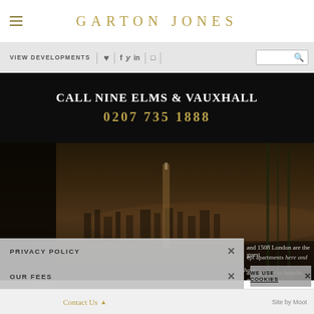GARTON JONES
VIEW DEVELOPMENTS
CALL NINE ELMS & VAUXHALL
0207 735 1888
[Figure (photo): Dark atmospheric rendering of a luxury apartment terrace/pool with nighttime London skyline view, dark tones of brown and amber]
PRIVACY POLICY  ×
and 1508 London are the guest
ept apartments here and have
are manage to beguile, entertain
OUR FEES  ×
WE USE COOKIES  ×
Contact Us ▲          Site by Moot